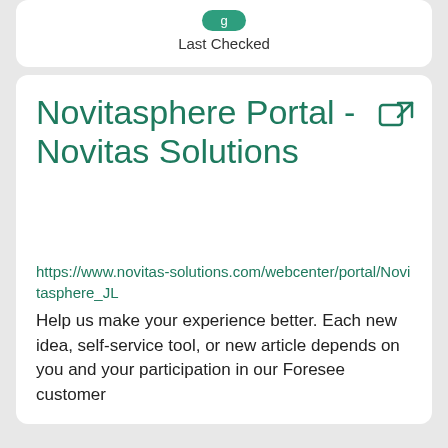Last Checked
Novitasphere Portal - Novitas Solutions
https://www.novitas-solutions.com/webcenter/portal/Novitasphere_JL
Help us make your experience better. Each new idea, self-service tool, or new article depends on you and your participation in our Foresee customer